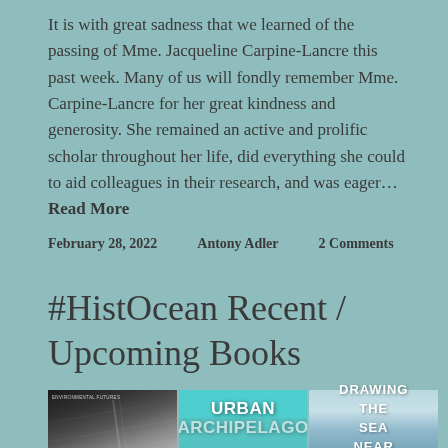It is with great sadness that we learned of the passing of Mme. Jacqueline Carpine-Lancre this past week. Many of us will fondly remember Mme. Carpine-Lancre for her great kindness and generosity. She remained an active and prolific scholar throughout her life, did everything she could to aid colleagues in their research, and was eager... Read More
February 28, 2022    Antony Adler    2 Comments
#HistOcean Recent / Upcoming Books
[Figure (photo): Three book covers side by side: left shows a dark curved structure with 'Environmental Futures' label; middle shows 'Urban Archipelago' with teal background and aerial map; right shows 'Drawing the Sea Near' with ocean background.]